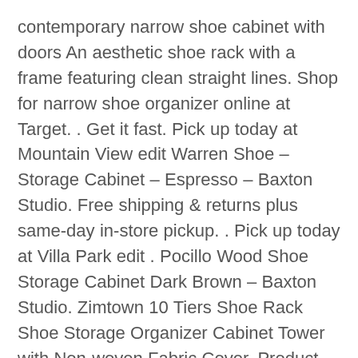contemporary narrow shoe cabinet with doors An aesthetic shoe rack with a frame featuring clean straight lines. Shop for narrow shoe organizer online at Target. . Get it fast. Pick up today at Mountain View edit Warren Shoe – Storage Cabinet – Espresso – Baxton Studio. Free shipping & returns plus same-day in-store pickup. . Pick up today at Villa Park edit . Pocillo Wood Shoe Storage Cabinet Dark Brown – Baxton Studio. Zimtown 10 Tiers Shoe Rack Shoe Storage Organizer Cabinet Tower with Non-woven Fabric Cover. Product Variants Selector . Free store pickup. Add To Cart. Shoe Cabinets. Over-the- . Free pickup today. Only at Walmart. Product Image Mainstays 10-Tier Narrow Shoe Rack, Versatile Design for All Shoe Types. The Vida Shoe Storage Cabinet is a stunning new product that has a modern stylish design. Not only . It has a handle and is easy to pick up and move around. Keep your shoes organized and out